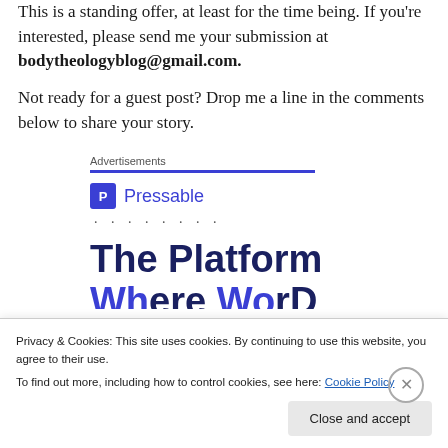This is a standing offer, at least for the time being. If you're interested, please send me your submission at bodytheologyblog@gmail.com.
Not ready for a guest post? Drop me a line in the comments below to share your story.
Advertisements
[Figure (logo): Pressable logo with blue square P icon and blue text 'Pressable', followed by dotted ellipsis line]
The Platform
Privacy & Cookies: This site uses cookies. By continuing to use this website, you agree to their use. To find out more, including how to control cookies, see here: Cookie Policy